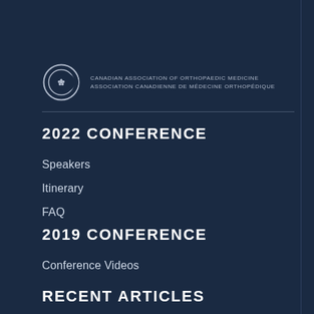[Figure (logo): Canadian Association of Orthopaedic Medicine logo with crescent moon and maple leaf emblem, text reading CANADIAN ASSOCIATION OF ORTHOPAEDIC MEDICINE / ASSOCIATION CANADIENNE DE MÉDECINE ORTHOPÉDIQUE]
2022 CONFERENCE
Speakers
Itinerary
FAQ
2019 CONFERENCE
Conference Videos
RECENT ARTICLES